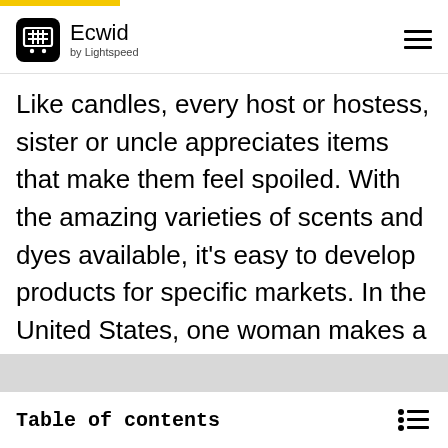Ecwid by Lightspeed
Like candles, every host or hostess, sister or uncle appreciates items that make them feel spoiled. With the amazing varieties of scents and dyes available, it's easy to develop products for specific markets. In the United States, one woman makes a living using the spent grain from breweries to make soaps the brewery then brands and sells as keepsakes.
[Figure (photo): Blurred/faded image strip at the bottom of the content area]
Table of contents